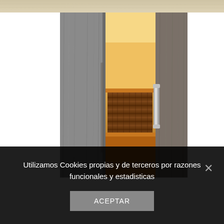[Figure (photo): Top portion of a wooden furniture piece, showing light wood grain texture at the top]
[Figure (photo): Open wardrobe/cabinet with grey wood-grain panel doors partially open, revealing illuminated interior with woven baskets and shelves. Silver bar handles on the doors.]
Utilizamos Cookies propias y de terceros por razones funcionales y estadisticas
ACEPTAR